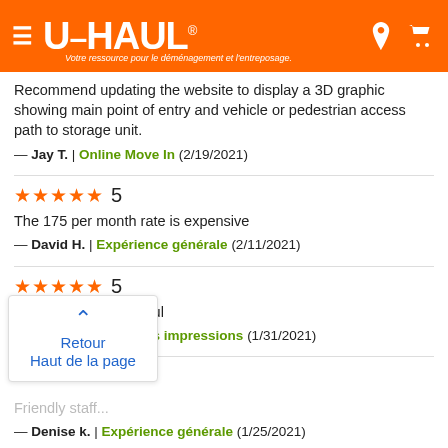U-HAUL® — Votre ressource pour le déménagement et l'entreposage.
Recommend updating the website to display a 3D graphic showing main point of entry and vehicle or pedestrian access path to storage unit.
— Jay T. | Online Move In (2/19/2021)
★★★★★ 5
The 175 per month rate is expensive
— David H. | Expérience générale (2/11/2021)
★★★★★ 5
Employees very helpful
— Keith M. | Premières impressions (1/31/2021)
Friendly staff...
— Denise k. | Expérience générale (1/25/2021)